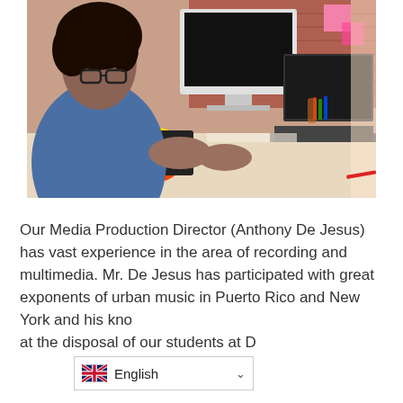[Figure (photo): A woman with curly hair and glasses sitting at a desk working on a laptop and desktop computer, with a color wheel, tablet, and supplies visible. Creative/design workspace with brick wall background.]
Our Media Production Director (Anthony De Jesus) has vast experience in the area of recording and multimedia. Mr. De Jesus has participated with great exponents of urban music in Puerto Rico and New York and his knowledge and passion are at the disposal of our students at [continues]